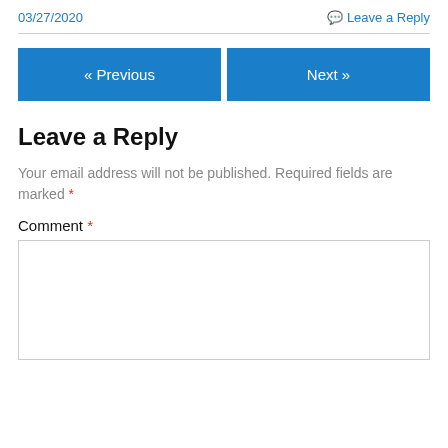03/27/2020
Leave a Reply
« Previous
Next »
Leave a Reply
Your email address will not be published. Required fields are marked *
Comment *